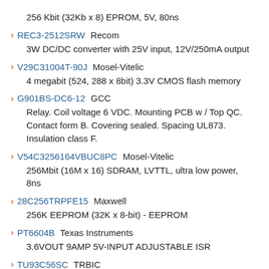256 Kbit (32Kb x 8) EPROM, 5V, 80ns
REC3-2512SRW Recom
3W DC/DC converter with 25V input, 12V/250mA output
V29C31004T-90J Mosel-Vitelic
4 megabit (524, 288 x 8bit) 3.3V CMOS flash memory
G901BS-DC6-12 GCC
Relay. Coil voltage 6 VDC. Mounting PCB w / Top QC. Contact form B. Covering sealed. Spacing UL873. Insulation class F.
V54C3256164VBUC8PC Mosel-Vitelic
256Mbit (16M x 16) SDRAM, LVTTL, ultra low power, 8ns
28C256TRPFE15 Maxwell
256K EEPROM (32K x 8-bit) - EEPROM
PT6604B Texas Instruments
3.6VOUT 9AMP 5V-INPUT ADJUSTABLE ISR
TU93C56SC TRBIC
CMOS microwire bus 2 K electrically erasable